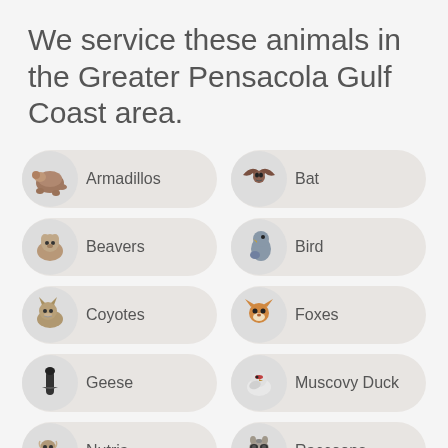We service these animals in the Greater Pensacola Gulf Coast area.
Armadillos
Bat
Beavers
Bird
Coyotes
Foxes
Geese
Muscovy Duck
Nutria
Raccoons